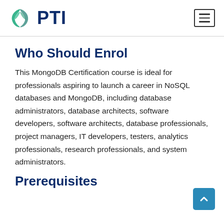PTI
Who Should Enrol
This MongoDB Certification course is ideal for professionals aspiring to launch a career in NoSQL databases and MongoDB, including database administrators, database architects, software developers, software architects, database professionals, project managers, IT developers, testers, analytics professionals, research professionals, and system administrators.
Prerequisites